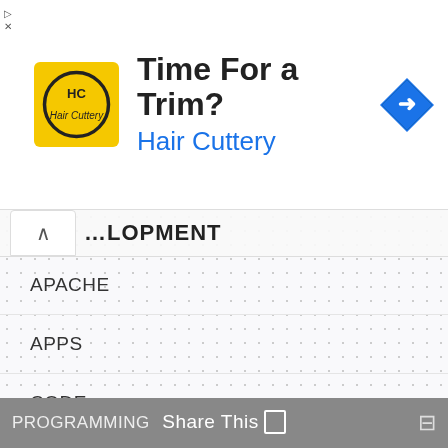[Figure (other): Advertisement banner for Hair Cuttery - shows logo, 'Time For a Trim?' heading, 'Hair Cuttery' subtext in blue, and navigation icon]
DEVELOPMENT
APACHE
APPS
CODE
COMPUTER SCIENCE
CSS3
HTML5
JAVASCRIPT
JQUERY
MOBILE
PROGRAMMING   Share This